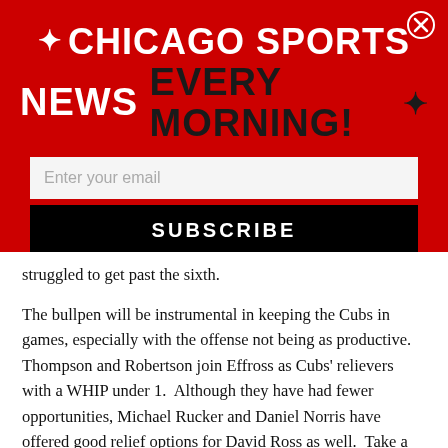★CHICAGO SPORTS NEWS EVERY MORNING!★
[Figure (screenshot): Email subscription form with text input field labeled 'Enter your email' and a black SUBSCRIBE button]
struggled to get past the sixth.

The bullpen will be instrumental in keeping the Cubs in games, especially with the offense not being as productive.  Thompson and Robertson join Effross as Cubs' relievers with a WHIP under 1.  Although they have had fewer opportunities, Michael Rucker and Daniel Norris have offered good relief options for David Ross as well.  Take a look at Ed's article here for a deeper